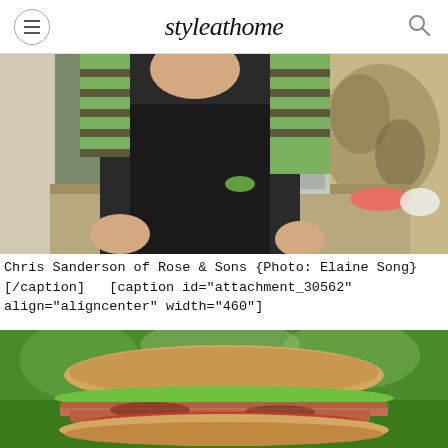styleathome
[Figure (photo): Chef Chris Sanderson of Rose & Sons standing at a food preparation station wearing a black apron over a green striped shirt, with food and kitchen equipment visible in background along with a decorative tapestry]
Chris Sanderson of Rose & Sons {Photo: Elaine Song} [/caption]   [caption id="attachment_30562" align="aligncenter" width="460"]
[Figure (photo): Close-up photo of a sandwich with bacon, lettuce and tomato on a bun, on a green background]